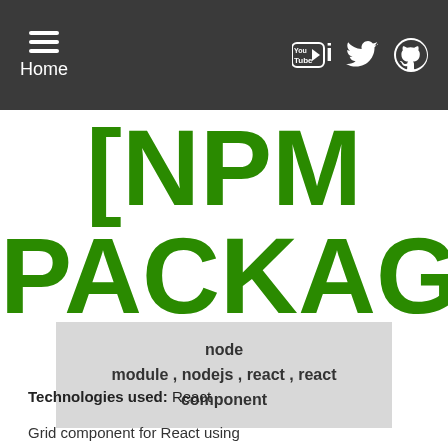Home | [social icons: YouTube, LinkedIn, Twitter, GitHub]
[NPM PACKAGE]
node module , nodejs , react , react component
Technologies used: React
Grid component for React using